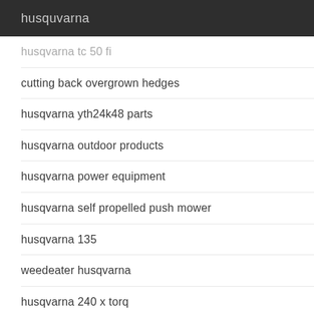husquvarna
husqvarna tc 50 fi
cutting back overgrown hedges
husqvarna yth24k48 parts
husqvarna outdoor products
husqvarna power equipment
husqvarna self propelled push mower
husqvarna 135
weedeater husqvarna
husqvarna 240 x torq
husqvarna backpack blower parts
husqvarna manuals
husqvarna chainsaw